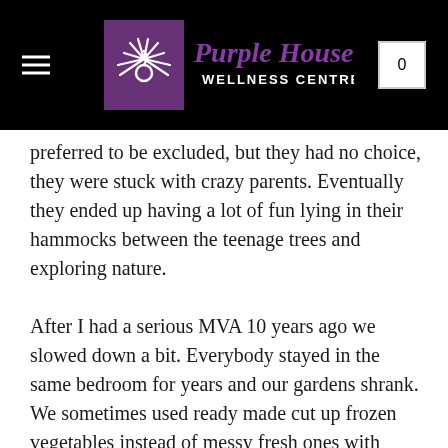Purple House Wellness Centre
preferred to be excluded, but they had no choice, they were stuck with crazy parents. Eventually they ended up having a lot of fun lying in their hammocks between the teenage trees and exploring nature. After I had a serious MVA 10 years ago we slowed down a bit. Everybody stayed in the same bedroom for years and our gardens shrank. We sometimes used ready made cut up frozen vegetables instead of messy fresh ones with clumps of dirt from the garden. The medicinal herb garden which used to be my pride and joy went to the pack and was eventually turned into a chook yard. The trees in the forest quietly kept maturing in our